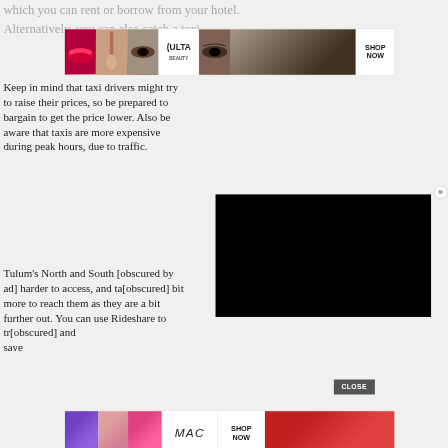which you can rent or borrow from your hotel. Alternatively, you can also catch a taxi
[Figure (advertisement): Ulta Beauty advertisement banner with makeup images (lips, brush, eyes) and 'SHOP NOW' button]
Keep in mind that taxi drivers might try to raise their prices, so be prepared to bargain to get the price lower. Also be aware that taxis are more expensive during peak hours, due to traffic.
[Figure (screenshot): Black video overlay popup covering right portion of screen with close button]
Tulum's North and South [obscured] harder to access, and ta[obscured] bit more to reach them as they are a bit further out. You can use Rideshare to tr[obscured] and save
[Figure (advertisement): MAC cosmetics advertisement banner with lipstick images in purple, pink, and red, MAC logo, and 'SHOP NOW' button]